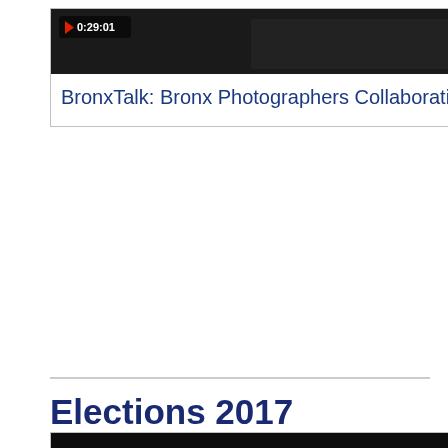[Figure (screenshot): Video thumbnail for BronxTalk: Bronx Photographers Collaborative showing dark image with play button and timestamp 0:29:01]
BronxTalk: Bronx Photographers Collaborative
[Figure (screenshot): Video thumbnail (partially visible) with play button and timestamp 0:29:01, for BronxTalk: Relief]
BronxTalk: Relief
Elections 2017
[Figure (photo): Photo of a Black man in a dark suit and red tie, speaking passionately with fist raised, on a dark background]
[Figure (photo): Photo (partially visible) of a person with hands raised, on a dark background]